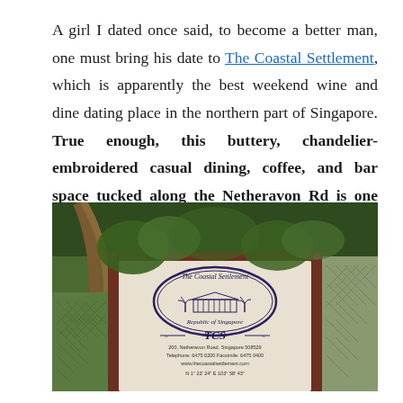A girl I dated once said, to become a better man, one must bring his date to The Coastal Settlement, which is apparently the best weekend wine and dine dating place in the northern part of Singapore. True enough, this buttery, chandelier-embroidered casual dining, coffee, and bar space tucked along the Netheravon Rd is one absolute sweetheart; it sure is a heart pounder.
[Figure (photo): Outdoor photograph of The Coastal Settlement signboard mounted in a dark red metal frame, showing the restaurant's oval logo with palm trees and a colonial building, 'Republic of Singapore', TCS monogram, and address details including 200 Netheravon Road, Singapore 508529, phone and fax numbers, website, and GPS coordinates. Background shows lush green foliage and a lattice fence.]